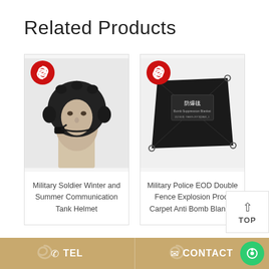Related Products
[Figure (photo): Military Soldier Winter and Summer Communication Tank Helmet - black helmet on mannequin head with microphone]
Military Soldier Winter and Summer Communication Tank Helmet
[Figure (photo): Military Police EOD Double Fence Explosion Proof Carpet Anti Bomb Blanket - black folded blanket with Chinese text]
Military Police EOD Double Fence Explosion Proof Carpet Anti Bomb Blanket
TEL   CONTACT